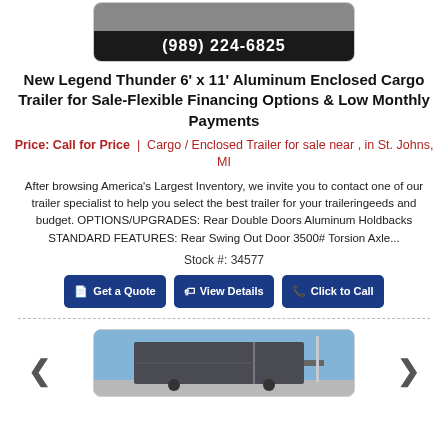[Figure (photo): Top of a trailer image with phone number bar showing (989) 224-6825]
New Legend Thunder 6' x 11' Aluminum Enclosed Cargo Trailer for Sale-Flexible Financing Options & Low Monthly Payments
Price: Call for Price | Cargo / Enclosed Trailer for sale near , in St. Johns, MI
After browsing America's Largest Inventory, we invite you to contact one of our trailer specialist to help you select the best trailer for your traileringeeds and budget. OPTIONS/UPGRADES: Rear Double Doors Aluminum Holdbacks STANDARD FEATURES: Rear Swing Out Door 3500# Torsion Axle...
Stock #: 34577
Get a Quote | View Details | Click to Call
[Figure (photo): Bottom portion showing a cargo trailer photo with navigation arrows on the sides]